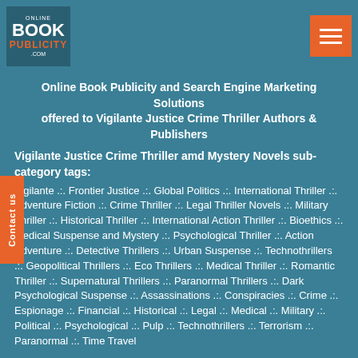[Figure (logo): Online Book Publicity .com logo — dark teal box with white BOOK text, orange PUBLICITY text]
Online Book Publicity and Search Engine Marketing Solutions offered to Vigilante Justice Crime Thriller Authors & Publishers
Vigilante Justice Crime Thriller amd Mystery Novels sub-category tags:
Vigilante .:. Frontier Justice .:. Global Politics .:. International Thriller .:. Adventure Fiction .:. Crime Thriller .:. Legal Thriller Novels .:. Military Thriller .:. Historical Thriller .:. International Action Thriller .:. Bioethics .:. Medical Suspense and Mystery .:. Psychological Thriller .:. Action Adventure .:. Detective Thrillers .:. Urban Suspense .:. Technothrillers .:. Geopolitical Thrillers .:. Eco Thrillers .:. Medical Thriller .:. Romantic Thriller .:. Supernatural Thrillers .:. Paranormal Thrillers .:. Dark Psychological Suspense .:. Assassinations .:. Conspiracies .:. Crime .:. Espionage .:. Financial .:. Historical .:. Legal .:. Medical .:. Military .:. Political .:. Psychological .:. Pulp .:. Technothrillers .:. Terrorism .:. Paranormal .:. Time Travel